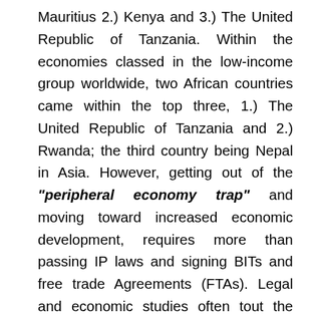Mauritius 2.) Kenya and 3.) The United Republic of Tanzania. Within the economies classed in the low-income group worldwide, two African countries came within the top three, 1.) The United Republic of Tanzania and 2.) Rwanda; the third country being Nepal in Asia. However, getting out of the "peripheral economy trap" and moving toward increased economic development, requires more than passing IP laws and signing BITs and free trade Agreements (FTAs). Legal and economic studies often tout the correlation between strong IP laws and economic development. However, the correlation is not straight-forward. Strong IP laws must be combined with clear and detailed strategies to promote innovation and R&D. Both R&D strategies and IP laws must be backed by strong, well-resourced institutions, with the latitude to